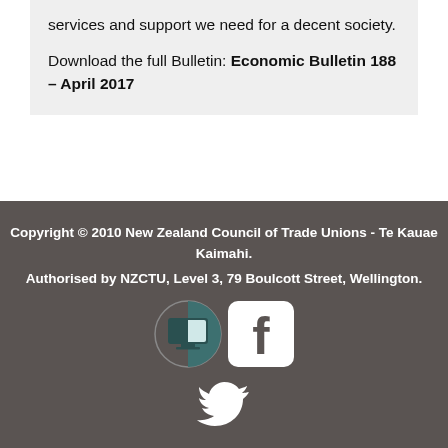services and support we need for a decent society.

Download the full Bulletin: Economic Bulletin 188 – April 2017
Copyright © 2010 New Zealand Council of Trade Unions - Te Kauae Kaimahi.
Authorised by NZCTU, Level 3, 79 Boulcott Street, Wellington.